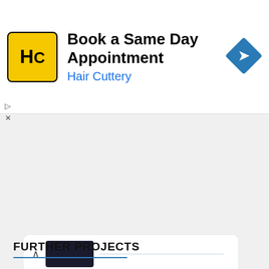[Figure (screenshot): Hair Cuttery advertisement banner with yellow logo showing 'HC', text 'Book a Same Day Appointment' and 'Hair Cuttery' in blue, and a blue navigation arrow icon on the right.]
[Figure (screenshot): Partial Twitter/social media feed showing a collapsed tweet at top with like count of 5, and a SciHi tweet by @SciHiBlog dated Jun 19 about Steve Fossett launching the Spirit of Freedom balloon on June 19, 2002.]
FURTHER PROJECTS